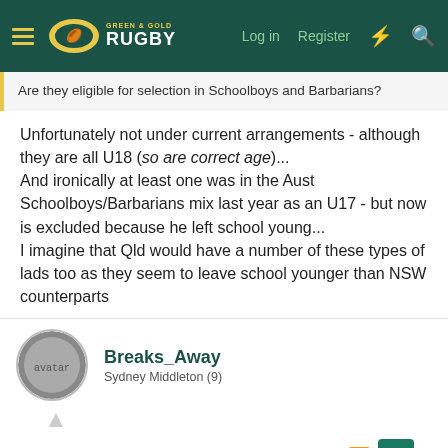Green & Gold Rugby — Log in  Register
Are they eligible for selection in Schoolboys and Barbarians?
Unfortunately not under current arrangements - although they are all U18 (so are correct age)...
And ironically at least one was in the Aust Schoolboys/Barbarians mix last year as an U17 - but now is excluded because he left school young...
I imagine that Qld would have a number of these types of lads too as they seem to leave school younger than NSW counterparts
Breaks_Away
Sydney Middleton (9)
Jul 11, 2018
thepuma said: